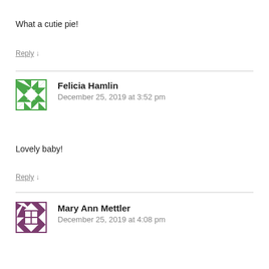What a cutie pie!
Reply ↓
Felicia Hamlin
December 25, 2019 at 3:52 pm
Lovely baby!
Reply ↓
Mary Ann Mettler
December 25, 2019 at 4:08 pm